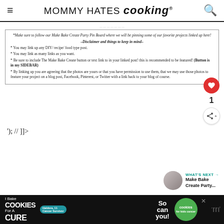MOMMY HATES cooking®
*Make sure to follow our Make Bake Create Party Pin Board where we will be pinning some of our favorite projects linked up here! –Disclaimer and things to keep in mind– * You may link up any DIY/ recipe/ food type post. * You may link as many links as you want. * Be sure to include The Make Bake Create button or text link to in your linked post! this is recommended to be featured! (Button is in my SIDEBAR) * By linking up you are agreeing that the photos are yours or that you have permission to use them, that we may use those photos to feature your project on a blog post, Facebook, Pinterest, or Twitter with a link back to your blog of course.
'); // ]]>
[Figure (screenshot): Red heart/like button with count of 1, and share button]
[Figure (screenshot): WHAT'S NEXT arrow with thumbnail: Make Bake Create Party...]
[Figure (screenshot): Advertisement banner: I Bake COOKIES For A CURE - Haldora, 11 Cancer Survivor - So can you! - cookies for kids cancer - with close button and mw logo]